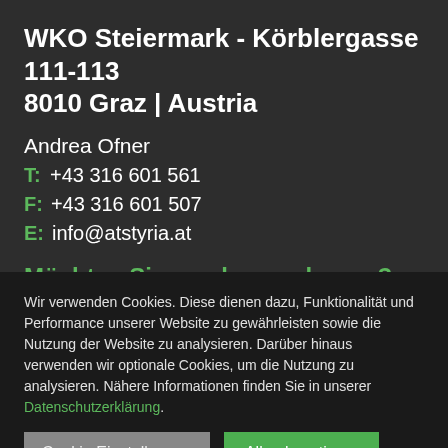WKO Steiermark - Körblergasse 111-113
8010 Graz | Austria
Andrea Ofner
T:  +43 316 601 561
F:  +43 316 601 507
E:  info@atstyria.at
Möchten Sie uns kennenlernen?
Wir verwenden Cookies. Diese dienen dazu, Funktionalität und Performance unserer Website zu gewährleisten sowie die Nutzung der Website zu analysieren. Darüber hinaus verwenden wir optionale Cookies, um die Nutzung zu analysieren. Nähere Informationen finden Sie in unserer Datenschutzerklärung.
Cookie Einstellungen
Alle akzeptieren